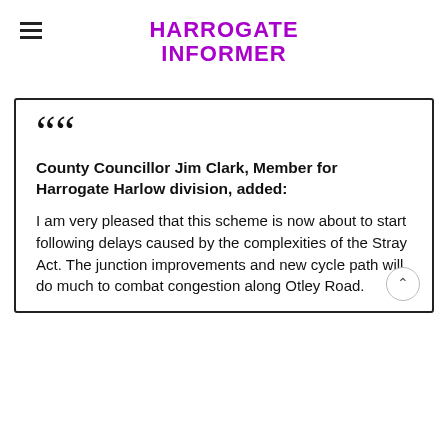HARROGATE INFORMER
County Councillor Jim Clark, Member for Harrogate Harlow division, added:

I am very pleased that this scheme is now about to start following delays caused by the complexities of the Stray Act. The junction improvements and new cycle path will do much to combat congestion along Otley Road.